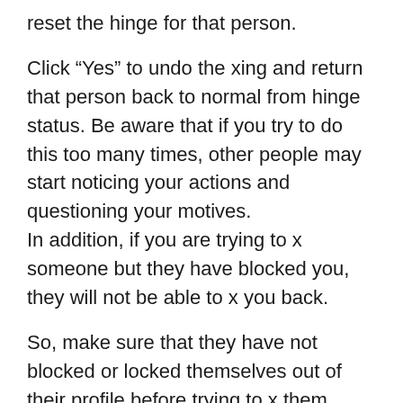reset the hinge for that person.
Click “Yes” to undo the xing and return that person back to normal from hinge status. Be aware that if you try to do this too many times, other people may start noticing your actions and questioning your motives.
In addition, if you are trying to x someone but they have blocked you, they will not be able to x you back.
So, make sure that they have not blocked or locked themselves out of their profile before trying to x them.
If you are just curious about someone’s status and are not seeking revenge, it is best to wait until the situation has cooled down.